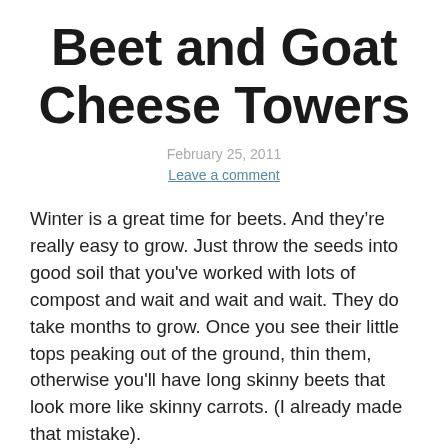Beet and Goat Cheese Towers
February 25, 2011
Leave a comment
Winter is a great time for beets. And they’re really easy to grow. Just throw the seeds into good soil that you've worked with lots of compost and wait and wait and wait. They do take months to grow. Once you see their little tops peaking out of the ground, thin them, otherwise you'll have long skinny beets that look more like skinny carrots. (I already made that mistake).